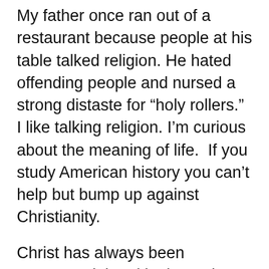My father once ran out of a restaurant because people at his table talked religion. He hated offending people and nursed a strong distaste for “holy rollers.” I like talking religion. I’m curious about the meaning of life.  If you study American history you can’t help but bump up against Christianity.
Christ has always been controversial and in the 19th century it was no different. Don’t be scared of Ellen White. Yes, her nose is disfigured. A mean boy threw a rock in her face as a child landing her in a coma. When she awoke with a screwed up nose she was devastated.
A few years later she had a conversion